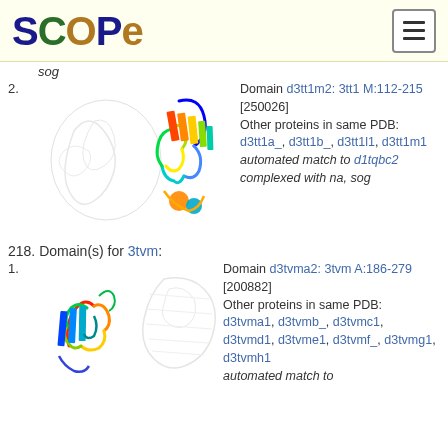SCOPe
sog
2. Domain d3tt1m2: 3tt1 M:112-215 [250026] Other proteins in same PDB: d3tt1a_, d3tt1b_, d3tt1l1, d3tt1m1 automated match to d1tqbc2 complexed with na, sog
218. Domain(s) for 3tvm:
1. Domain d3tvma2: 3tvm A:186-279 [200882] Other proteins in same PDB: d3tvma1, d3tvmb_, d3tvmc1, d3tvmd1, d3tvme1, d3tvmf_, d3tvmg1, d3tvmh1 automated match to